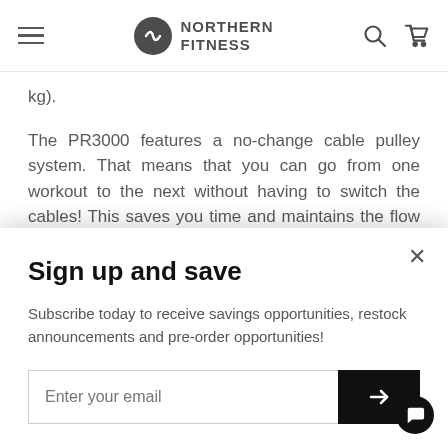Northern Fitness
kg).
The PR3000 features a no-change cable pulley system. That means that you can go from one workout to the next without having to switch the cables! This saves you time and maintains the flow of your workout.
The PR3000 is designed with longevity and comfort in
Sign up and save
Subscribe today to receive savings opportunities, restock announcements and pre-order opportunities!
Enter your email